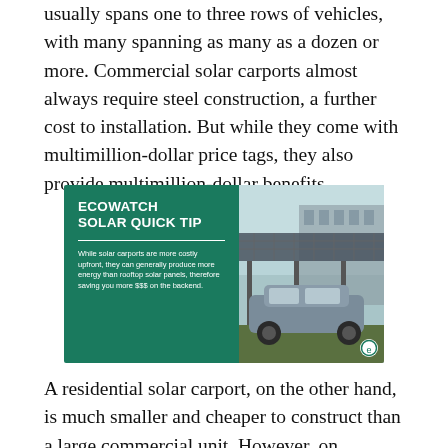usually spans one to three rows of vehicles, with many spanning as many as a dozen or more. Commercial solar carports almost always require steel construction, a further cost to installation. But while they come with multimillion-dollar price tags, they also provide multimillion-dollar benefits.
[Figure (infographic): EcoWatch Solar Quick Tip infographic card with green background on left showing title 'ECOWATCH SOLAR QUICK TIP' and text about solar carports producing more energy than rooftop solar panels, and a photo of a car under a solar carport canopy on the right.]
A residential solar carport, on the other hand, is much smaller and cheaper to construct than a large commercial unit. However, on average, they are more expensive than installing a full